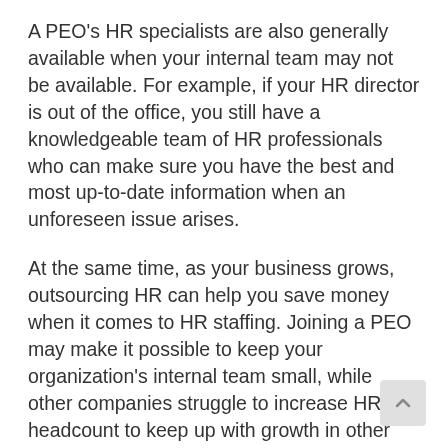A PEO's HR specialists are also generally available when your internal team may not be available. For example, if your HR director is out of the office, you still have a knowledgeable team of HR professionals who can make sure you have the best and most up-to-date information when an unforeseen issue arises.
At the same time, as your business grows, outsourcing HR can help you save money when it comes to HR staffing. Joining a PEO may make it possible to keep your organization's internal team small, while other companies struggle to increase HR headcount to keep up with growth in other departments.
Myth 3: “I’ll lose